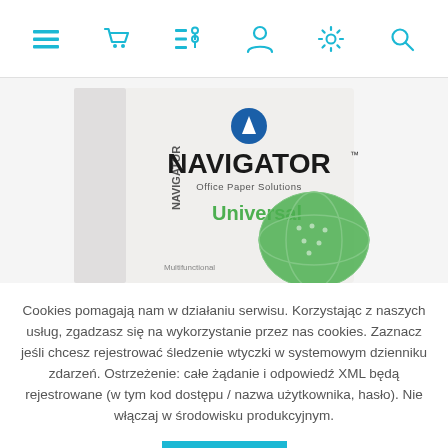[Figure (screenshot): Top navigation bar with icons: hamburger menu, shopping cart, list/filter, user account, settings gear, and search magnifier — all in teal/cyan color on white background.]
[Figure (photo): Navigator Office Paper Solutions Universal paper box product photo on light gray background.]
Cookies pomagają nam w działaniu serwisu. Korzystając z naszych usług, zgadzasz się na wykorzystanie przez nas cookies. Zaznacz jeśli chcesz rejestrować śledzenie wtyczki w systemowym dzienniku zdarzeń. Ostrzeżenie: całe żądanie i odpowiedź XML będą rejestrowane (w tym kod dostępu / nazwa użytkownika, hasło). Nie włączaj w środowisku produkcyjnym.
OK
Dowiedz się więcej